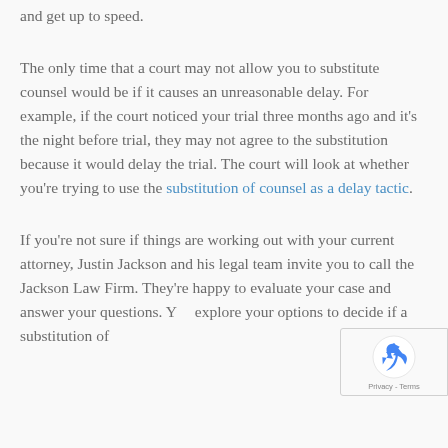and get up to speed.
The only time that a court may not allow you to substitute counsel would be if it causes an unreasonable delay. For example, if the court noticed your trial three months ago and it's the night before trial, they may not agree to the substitution because it would delay the trial. The court will look at whether you're trying to use the substitution of counsel as a delay tactic.
If you're not sure if things are working out with your current attorney, Justin Jackson and his legal team invite you to call the Jackson Law Firm. They're happy to evaluate your case and answer your questions. You explore your options to decide if a substitution of